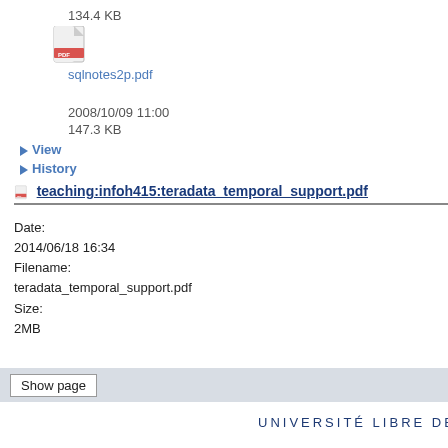134.4 KB
[Figure (screenshot): PDF file icon]
sqlnotes2p.pdf
2008/10/09 11:00
147.3 KB
View
History
teaching:infoh415:teradata_temporal_support.pdf
Date:
2014/06/18 16:34
Filename:
teradata_temporal_support.pdf
Size:
2MB
Show page
[Figure (logo): ULB - Université Libre de Bruxelles logo]